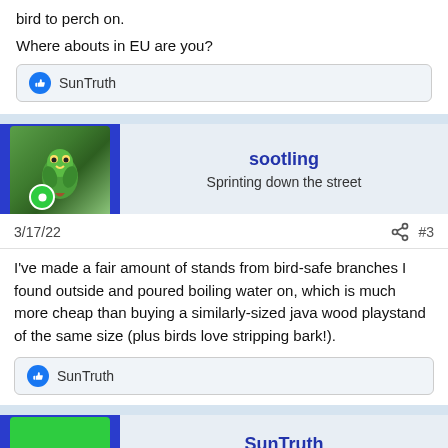bird to perch on.
Where abouts in EU are you?
SunTruth
sootling
Sprinting down the street
3/17/22
#3
I've made a fair amount of stands from bird-safe branches I found outside and poured boiling water on, which is much more cheap than buying a similarly-sized java wood playstand of the same size (plus birds love stripping bark!).
SunTruth
SunTruth